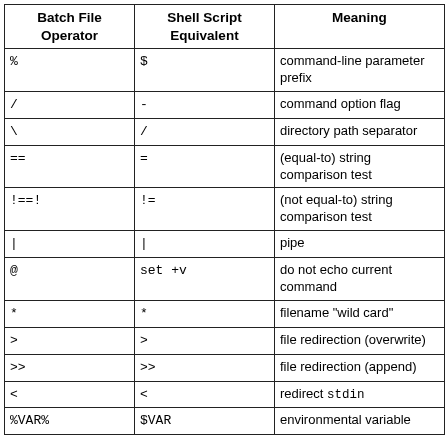| Batch File Operator | Shell Script Equivalent | Meaning |
| --- | --- | --- |
| % | $ | command-line parameter prefix |
| / | - | command option flag |
| \ | / | directory path separator |
| == | = | (equal-to) string comparison test |
| !==! | != | (not equal-to) string comparison test |
| | | | | pipe |
| @ | set +v | do not echo current command |
| * | * | filename "wild card" |
| > | > | file redirection (overwrite) |
| >> | >> | file redirection (append) |
| < | < | redirect stdin |
| %VAR% | $VAR | environmental variable |